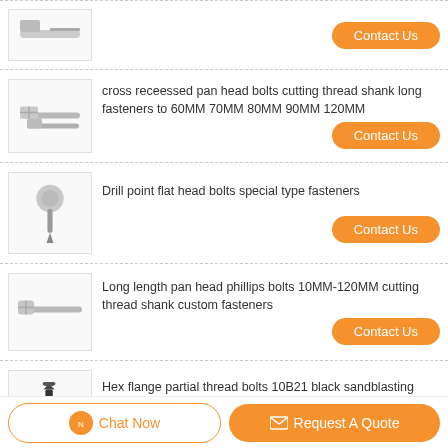[Figure (photo): Product image of bolts/fasteners (partially visible at top)]
Contact Us
[Figure (photo): Cross recessed pan head bolts with long shank]
cross receessed pan head bolts cutting thread shank long fasteners to 60MM 70MM 80MM 90MM 120MM
Contact Us
[Figure (photo): Drill point flat head bolt]
Drill point flat head bolts special type fasteners
Contact Us
[Figure (photo): Long pan head phillips bolt]
Long length pan head phillips bolts 10MM-120MM cutting thread shank custom fasteners
Contact Us
[Figure (photo): Hex flange bolts with black sandblasting coating]
Hex flange partial thread bolts 10B21 black sandblasting coating
Contact Us
Chat Now
Request A Quote